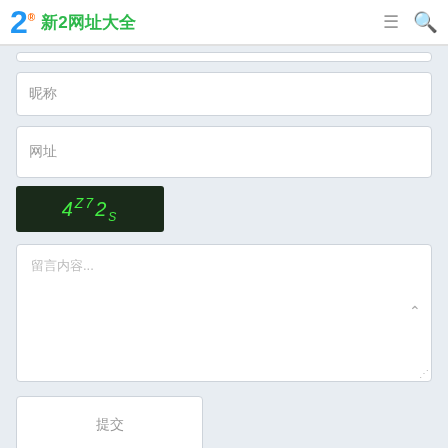新2网址大全
昵称
网址
[Figure (other): CAPTCHA image showing '4Z72S' in green text on dark background]
留言内容...
提交